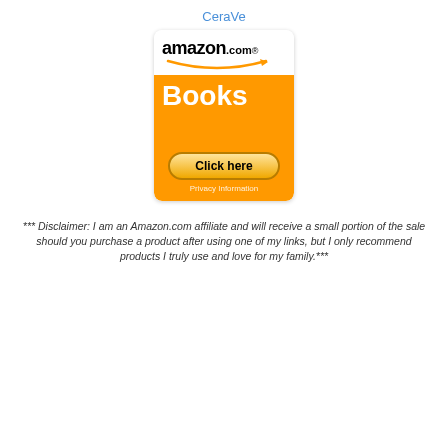CeraVe
[Figure (advertisement): Amazon.com Books advertisement banner with orange background, amazon.com logo at top, 'Books' text in white, a yellow 'Click here' button, and 'Privacy Information' text below button.]
*** Disclaimer: I am an Amazon.com affiliate and will receive a small portion of the sale should you purchase a product after using one of my links, but I only recommend products I truly use and love for my family.***